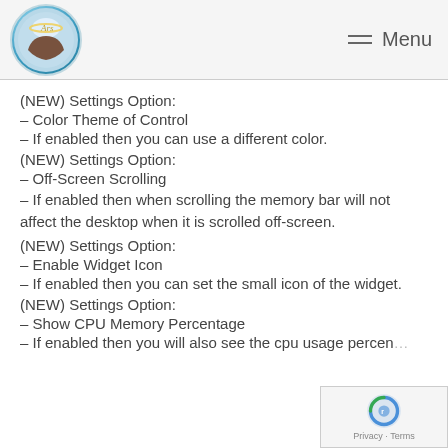Ars (logo) Menu
(NEW) Settings Option:
– Color Theme of Control
– If enabled then you can use a different color.
(NEW) Settings Option:
– Off-Screen Scrolling
– If enabled then when scrolling the memory bar will not affect the desktop when it is scrolled off-screen.
(NEW) Settings Option:
– Enable Widget Icon
– If enabled then you can set the small icon of the widget.
(NEW) Settings Option:
– Show CPU Memory Percentage
– If enabled then you will also see the cpu usage percen…